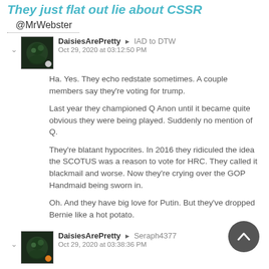They just flat out lie about CSSR
@MrWebster
DaisiesArePretty ▶ IAD to DTW
Oct 29, 2020 at 03:12:50 PM

Ha. Yes. They echo redstate sometimes. A couple members say they're voting for trump.

Last year they championed Q Anon until it became quite obvious they were being played. Suddenly no mention of Q.

They're blatant hypocrites. In 2016 they ridiculed the idea the SCOTUS was a reason to vote for HRC. They called it blackmail and worse. Now they're crying over the GOP Handmaid being sworn in.

Oh. And they have big love for Putin. But they've dropped Bernie like a hot potato.
DaisiesArePretty ▶ Seraph4377
Oct 29, 2020 at 03:38:36 PM
They love Julian Assange and see Putin as an ally